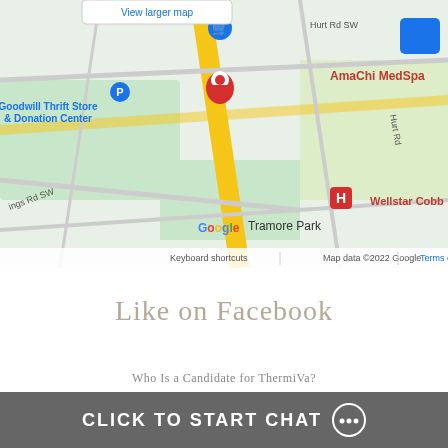[Figure (map): Google Maps showing area with AmaChi MedSpa, Goodwill Thrift Store & Donation Center, Wellstar Cobb hospital, Tramore Park, and roads including Hurt Rd SW. Map data ©2022 Google with keyboard shortcuts and Terms of Use footer.]
Like on Facebook
Recent Posts
Who Is a Candidate for ThermiVa?
How Long Does Permanent Make Up Last?
CLICK TO START CHAT